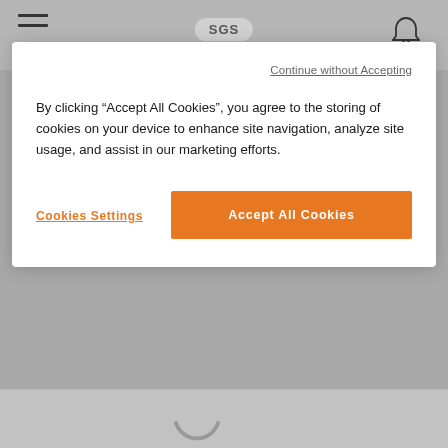[Figure (screenshot): SGS website header with hamburger menu icon on left, SGS logo pill in center, bell notification icon on right, on grey background]
Continue without Accepting
By clicking “Accept All Cookies”, you agree to the storing of cookies on your device to enhance site navigation, analyze site usage, and assist in our marketing efforts.
Cookies Settings
Accept All Cookies
[Figure (screenshot): Grey loading area with spinning progress indicators (partial circles) visible below the cookie consent modal]